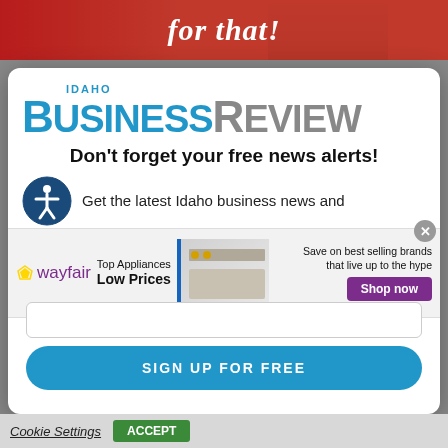[Figure (photo): Red advertisement banner at top with italic white text 'for that!' and a person's face]
[Figure (logo): Idaho Business Review logo — 'IDAHO' in blue above 'BUSINESS' in blue bold and 'REVIEW' in gray bold]
Don't forget your free news alerts!
Get the latest Idaho business news and
[Figure (infographic): Wayfair advertisement bar: Wayfair logo, 'Top Appliances Low Prices', image of stove, 'Save on best selling brands that live up to the hype', purple Shop now button]
SIGN UP FOR FREE
Cookie Settings
ACCEPT